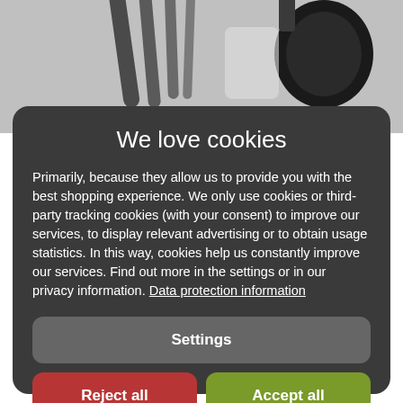[Figure (photo): Background photo of headphones/audio equipment in grayscale]
We love cookies
Primarily, because they allow us to provide you with the best shopping experience. We only use cookies or third-party tracking cookies (with your consent) to improve our services, to display relevant advertising or to obtain usage statistics. In this way, cookies help us constantly improve our services. Find out more in the settings or in our privacy information. Data protection information